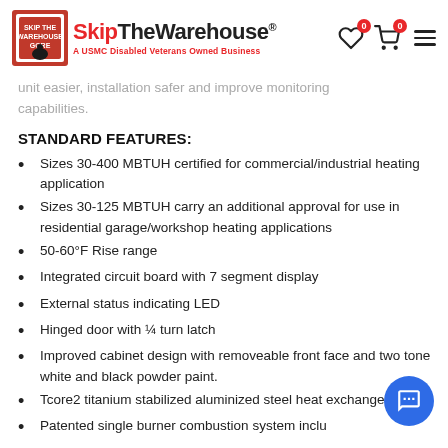SkipTheWarehouse® — A USMC Disabled Veterans Owned Business
unit easier, installation safer and improve monitoring capabilities.
STANDARD FEATURES:
Sizes 30-400 MBTUH certified for commercial/industrial heating application
Sizes 30-125 MBTUH carry an additional approval for use in residential garage/workshop heating applications
50-60°F Rise range
Integrated circuit board with 7 segment display
External status indicating LED
Hinged door with ¼ turn latch
Improved cabinet design with removeable front face and two tone white and black powder paint.
Tcore2 titanium stabilized aluminized steel heat exchanger
Patented single burner combustion system including one-piece burner assembly
115V, 1 phase, 60 Hz supply voltage